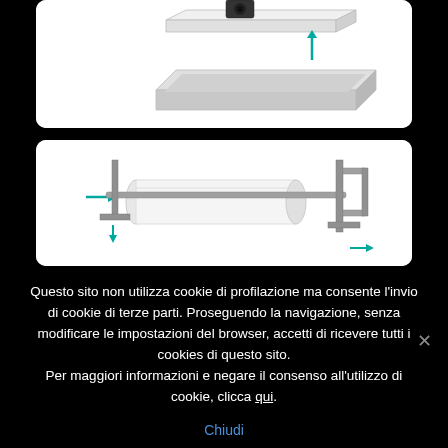[Figure (engineering-diagram): Exploded/assembly engineering diagram showing a white rectangular rail or track component with a black mounting element on top and a flat tray/channel below, with a teal/green upward arrow indicating assembly direction]
[Figure (engineering-diagram): Engineering diagram showing a white cylindrical roller or pipe component mounted on a metal frame/stand with brackets, teal/green arrows indicating assembly/installation directions on left and bottom]
Questo sito non utilizza cookie di profilazione ma consente l'invio di cookie di terze parti. Proseguendo la navigazione, senza modificare le impostazioni del browser, accetti di ricevere tutti i cookies di questo sito.
Per maggiori informazioni e negare il consenso all'utilizzo di cookie, clicca qui.
Chiudi